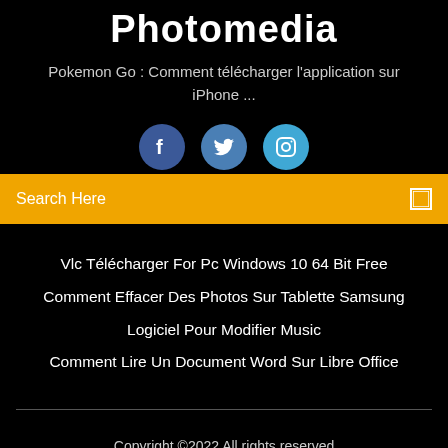Photomedia
Pokemon Go : Comment télécharger l'application sur iPhone ...
[Figure (illustration): Three circular social media icons: Facebook (dark blue), Twitter (medium blue), Instagram (light blue)]
Search Here
Vlc Télécharger For Pc Windows 10 64 Bit Free
Comment Effacer Des Photos Sur Tablette Samsung
Logiciel Pour Modifier Music
Comment Lire Un Document Word Sur Libre Office
Copyright ©2022 All rights reserved